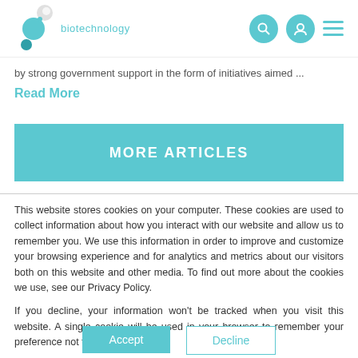biotechnology
by strong government support in the form of initiatives aimed ...
Read More
MORE ARTICLES
This website stores cookies on your computer. These cookies are used to collect information about how you interact with our website and allow us to remember you. We use this information in order to improve and customize your browsing experience and for analytics and metrics about our visitors both on this website and other media. To find out more about the cookies we use, see our Privacy Policy.

If you decline, your information won't be tracked when you visit this website. A single cookie will be used in your browser to remember your preference not to be tracked.
Accept  Decline